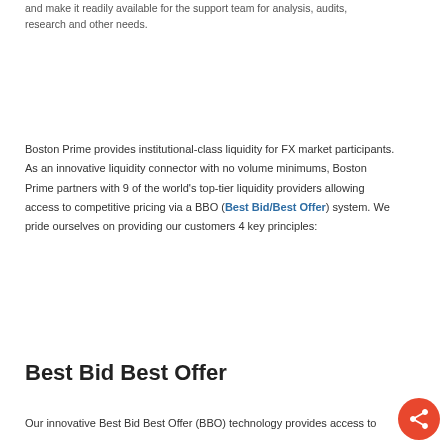and make it readily available for the support team for analysis, audits, research and other needs.
Boston Prime provides institutional-class liquidity for FX market participants. As an innovative liquidity connector with no volume minimums, Boston Prime partners with 9 of the world's top-tier liquidity providers allowing access to competitive pricing via a BBO (Best Bid/Best Offer) system. We pride ourselves on providing our customers 4 key principles:
Best Bid Best Offer
Our innovative Best Bid Best Offer (BBO) technology provides access to